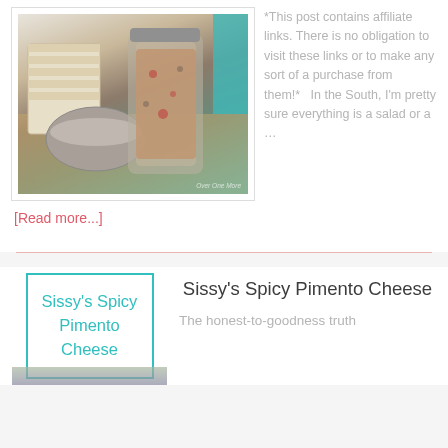[Figure (photo): Photo of pimento cheese in a glass jar with crackers and a decorative container on a wooden board, teal background]
*This post contains affiliate links. There is no obligation to visit these links or to make any sort of a purchase from them!*  In the South, I'm pretty sure everything is a salad or a … [Read more...]
[Figure (illustration): Thumbnail image with teal border text reading Sissy's Spicy Pimento Cheese in cursive teal font]
Sissy's Spicy Pimento Cheese
The honest-to-goodness truth